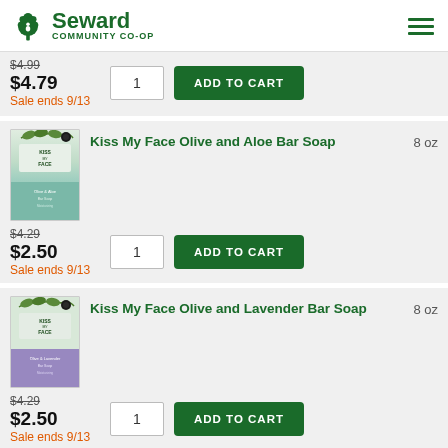Seward Community Co-op
$4.99 $4.79 Sale ends 9/13
[Figure (photo): Kiss My Face Olive and Aloe Bar Soap product image]
Kiss My Face Olive and Aloe Bar Soap  8 oz
$4.29 $2.50 Sale ends 9/13
[Figure (photo): Kiss My Face Olive and Lavender Bar Soap product image]
Kiss My Face Olive and Lavender Bar Soap  8 oz
$4.29 $2.50 Sale ends 9/13